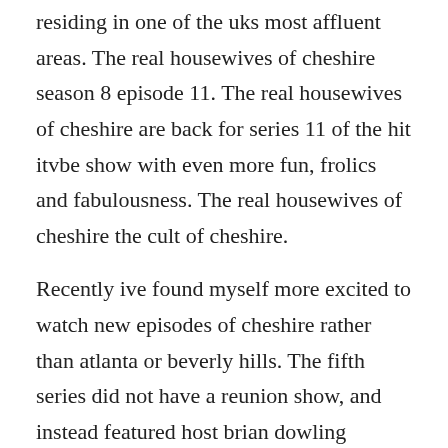residing in one of the uks most affluent areas. The real housewives of cheshire season 8 episode 11. The real housewives of cheshire are back for series 11 of the hit itvbe show with even more fun, frolics and fabulousness. The real housewives of cheshire the cult of cheshire.
Recently ive found myself more excited to watch new episodes of cheshire rather than atlanta or beverly hills. The fifth series did not have a reunion show, and instead featured host brian dowling visiting the housewives homes